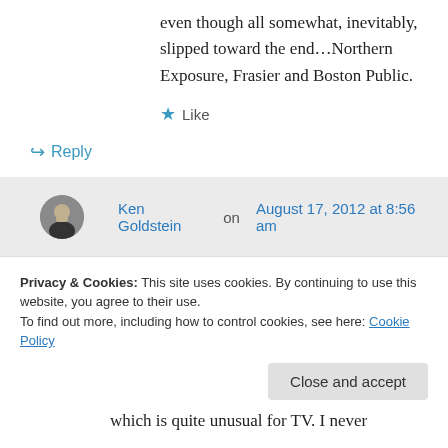even though all somewhat, inevitably, slipped toward the end…Northern Exposure, Frasier and Boston Public.
★ Like
↳ Reply
Ken Goldstein on August 17, 2012 at 8:56 am
Appreciate the feedback, Daniel. I know a lot of people who really enjoyed Northern
Privacy & Cookies: This site uses cookies. By continuing to use this website, you agree to their use.
To find out more, including how to control cookies, see here: Cookie Policy
Close and accept
which is quite unusual for TV. I never